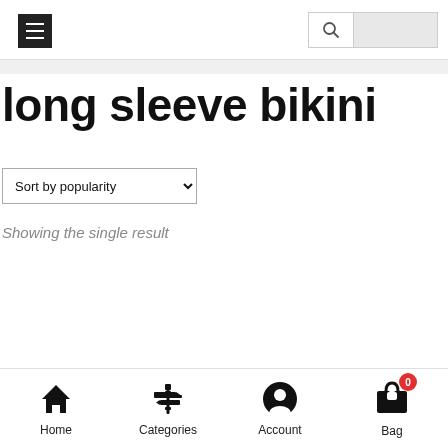Navigation header with menu button and search box
long sleeve bikini
Sort by popularity
Showing the single result
Home | Categories | Account | Bag (0)